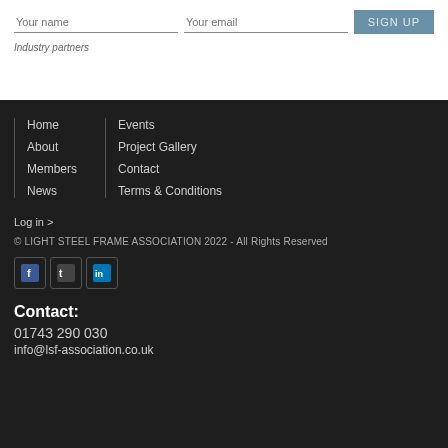Your name | Your email | SIGN UP
Industry partners
Home
About
Members
News
Events
Project Gallery
Contact
Terms & Conditions
Log in >
© LIGHT STEEL FRAME ASSOCIATION 2022 - All Rights Reserved
Contact:
01743 290 030
info@lsf-association.co.uk